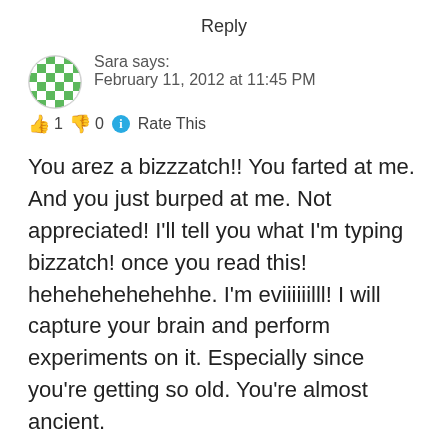Reply
Sara says:
February 11, 2012 at 11:45 PM
👍 1 👎 0 ℹ Rate This
You arez a bizzzatch!! You farted at me. And you just burped at me. Not appreciated! I'll tell you what I'm typing bizzatch! once you read this! hehehehehehehhe. I'm eviiiiiilll! I will capture your brain and perform experiments on it. Especially since you're getting so old. You're almost ancient.